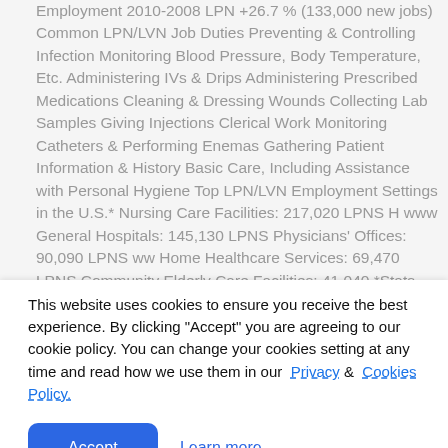Employment 2010-2008 LPN +26.7 % (133,000 new jobs) Common LPN/LVN Job Duties Preventing & Controlling Infection Monitoring Blood Pressure, Body Temperature, Etc. Administering IVs & Drips Administering Prescribed Medications Cleaning & Dressing Wounds Collecting Lab Samples Giving Injections Clerical Work Monitoring Catheters & Performing Enemas Gathering Patient Information & History Basic Care, Including Assistance with Personal Hygiene Top LPN/LVN Employment Settings in the U.S.* Nursing Care Facilities: 217,020 LPNS H www General Hospitals: 145,130 LPNS Physicians' Offices: 90,090 LPNS ww Home Healthcare Services: 69,470 LPNS Community Elderly Care Facilities: 41,040 *Stats from 2010 By
This website uses cookies to ensure you receive the best experience. By clicking "Accept" you are agreeing to our cookie policy. You can change your cookies setting at any time and read how we use them in our Privacy & Cookies Policy.
Accept
Learn more